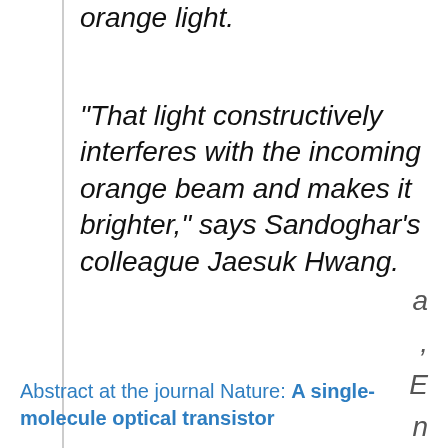orange light.
“That light constructively interferes with the incoming orange beam and makes it brighter,” says Sandoghar’s colleague Jaesuk Hwang.
Abstract at the journal Nature: A single-molecule optical transistor
a
,
E
n